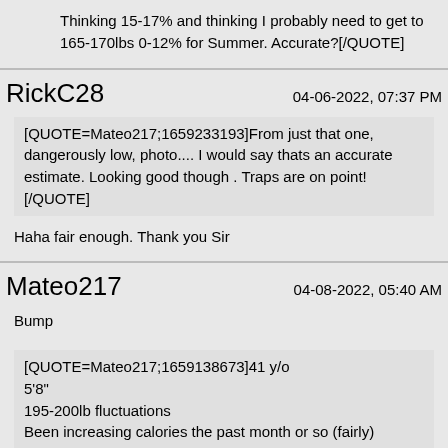Thinking 15-17% and thinking I probably need to get to 165-170lbs 0-12% for Summer. Accurate?[/QUOTE]
RickC28    04-06-2022, 07:37 PM
[QUOTE=Mateo217;1659233193]From just that one, dangerously low, photo.... I would say thats an accurate estimate. Looking good though . Traps are on point![/QUOTE]
Haha fair enough. Thank you Sir
Mateo217    04-08-2022, 05:40 AM
Bump
[QUOTE=Mateo217;1659138673]41 y/o
5'8"
195-200lb fluctuations
Been increasing calories the past month or so (fairly) carefully.